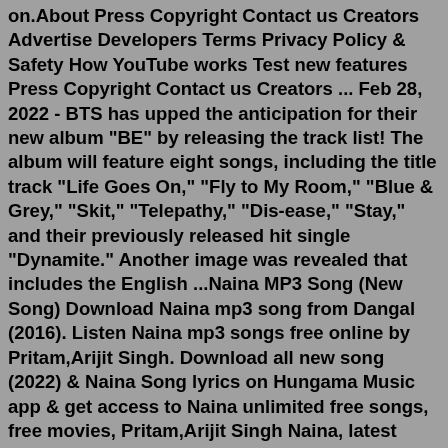on.About Press Copyright Contact us Creators Advertise Developers Terms Privacy Policy & Safety How YouTube works Test new features Press Copyright Contact us Creators ... Feb 28, 2022 - BTS has upped the anticipation for their new album "BE" by releasing the track list! The album will feature eight songs, including the title track "Life Goes On," "Fly to My Room," "Blue & Grey," "Skit," "Telepathy," "Dis-ease," "Stay," and their previously released hit single "Dynamite." Another image was revealed that includes the English ...Naina MP3 Song (New Song) Download Naina mp3 song from Dangal (2016). Listen Naina mp3 songs free online by Pritam,Arijit Singh. Download all new song (2022) & Naina Song lyrics on Hungama Music app & get access to Naina unlimited free songs, free movies, Pritam,Arijit Singh Naina, latest music videos, online radio, new TV shows and much more at Hungama.BTS Offline songs: New Release : ((My Universe - Coldplay X BTS)) 1. Permission to Dance 2. Butter 3. Film Out 4. Black Swan 5. Boy with Luv